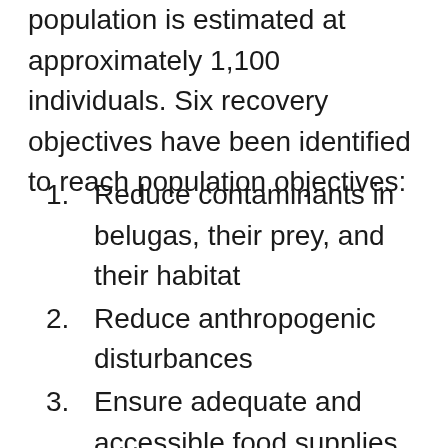population is estimated at approximately 1,100 individuals. Six recovery objectives have been identified to reach population objectives:
1. Reduce contaminants in belugas, their prey, and their habitat
2. Reduce anthropogenic disturbances
3. Ensure adequate and accessible food supplies
4. Mitigate the effects of other threats to population recovery
5. Protect the beluga habitat in its entire distribution range
6. Ensure regular monitoring of the St.